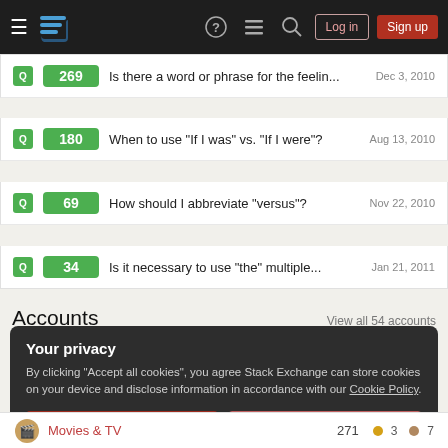Stack Exchange navigation bar with hamburger menu, logo, help, chat, search icons, Log in and Sign up buttons
269 | Is there a word or phrase for the feelin... | Dec 3, 2010
180 | When to use "If I was" vs. "If I were"? | Aug 13, 2010
69 | How should I abbreviate "versus"? | Nov 22, 2010
34 | Is it necessary to use "the" multiple... | Jan 21, 2011
Accounts
View all 54 accounts
Your privacy
By clicking "Accept all cookies", you agree Stack Exchange can store cookies on your device and disclose information in accordance with our Cookie Policy.
Accept all cookies | Customize settings
Movies & TV  271  3  7